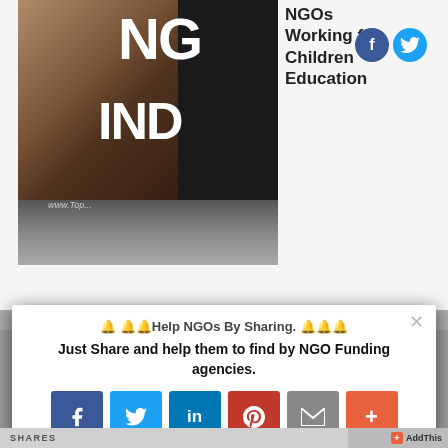[Figure (screenshot): Website header showing 'NGOs Working for Children Education' with logo/image and social media icons (Facebook, Twitter)]
NGOs Working for Children Education
Problems of the NGOs in India
🔔 🔔🔔Help NGOs By Sharing. 🔔🔔🔔
Just Share and help them to find by NGO Funding agencies.
[Figure (screenshot): Social share buttons: Facebook, Twitter, LinkedIn, Pinterest, Email, More (+)]
SHARES